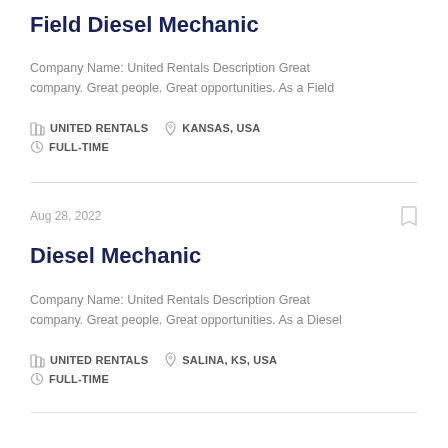Field Diesel Mechanic
Company Name: United Rentals Description Great company. Great people. Great opportunities. As a Field
UNITED RENTALS   KANSAS, USA   FULL-TIME
Aug 28, 2022
Diesel Mechanic
Company Name: United Rentals Description Great company. Great people. Great opportunities. As a Diesel
UNITED RENTALS   SALINA, KS, USA   FULL-TIME